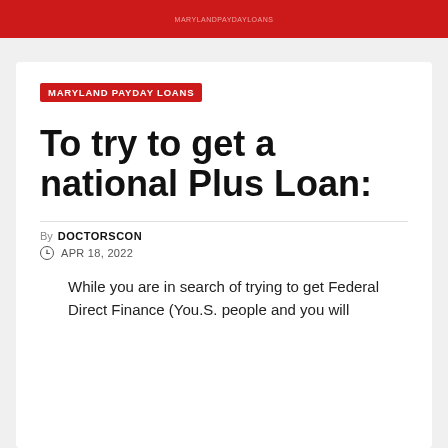MARYLAND PAYDAY LOANS
MARYLAND PAYDAY LOANS
To try to get a national Plus Loan:
By DOCTORSCON
APR 18, 2022
While you are in search of trying to get Federal Direct Finance (You.S. people and you will